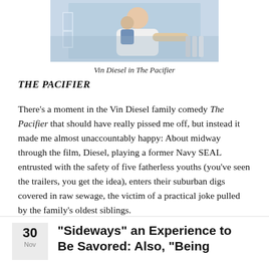[Figure (photo): Vin Diesel carrying a child in a baby carrier, reaching toward something, in a scene from The Pacifier]
Vin Diesel in The Pacifier
THE PACIFIER
There's a moment in the Vin Diesel family comedy The Pacifier that should have really pissed me off, but instead it made me almost unaccountably happy: About midway through the film, Diesel, playing a former Navy SEAL entrusted with the safety of five fatherless youths (you've seen the trailers, you get the idea), enters their suburban digs covered in raw sewage, the victim of a practical joke pulled by the family's oldest siblings.
"Sideways" an Experience to Be Savored: Also, "Being